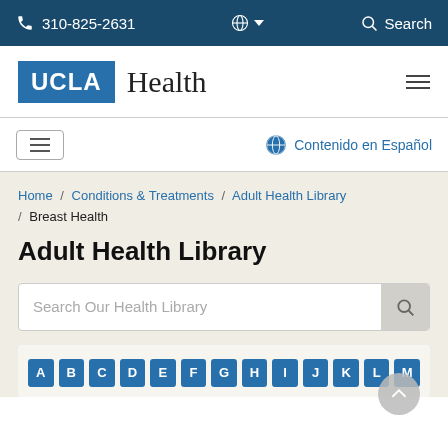310-825-2631  [globe] [dropdown]  [search] Search
[Figure (logo): UCLA Health logo: blue rectangle with white UCLA text, followed by serif Health text]
Contenido en Español
Home / Conditions & Treatments / Adult Health Library / Breast Health
Adult Health Library
Search Our Health Library
A B C D E F G H I J K L M